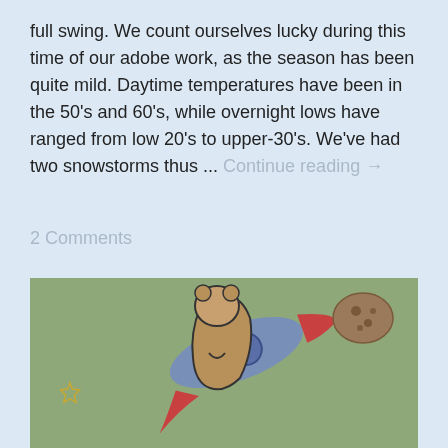full swing. We count ourselves lucky during this time of our adobe work, as the season has been quite mild. Daytime temperatures have been in the 50's and 60's, while overnight lows have ranged from low 20's to upper-30's. We've had two snowstorms thus ... Continue reading →
2 Comments
[Figure (illustration): A children's drawing on green-grey paper showing a cartoon bear or animal character riding a blue rocket ship, with a red nose cone. A small star is on the left side and a brown asteroid or rock with dark spots is in the upper right corner.]